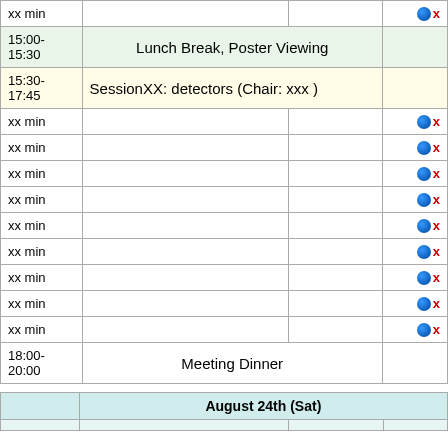| Time | Title | Speaker | Links |
| --- | --- | --- | --- |
| xx min |  |  | 🌐 x |
| 15:00-15:30 | Lunch Break, Poster Viewing |  |  |
| 15:30-17:45 | SessionXX: detectors (Chair: xxx ) |  |  |
| xx min |  |  | 🌐 x |
| xx min |  |  | 🌐 x |
| xx min |  |  | 🌐 x |
| xx min |  |  | 🌐 x |
| xx min |  |  | 🌐 x |
| xx min |  |  | 🌐 x |
| xx min |  |  | 🌐 x |
| xx min |  |  | 🌐 x |
| xx min |  |  | 🌐 x |
| 18:00-20:00 | Meeting Dinner |  |  |
|  | August 24th (Sat) |  |  |
| --- | --- | --- | --- |
|  |  |  |  |